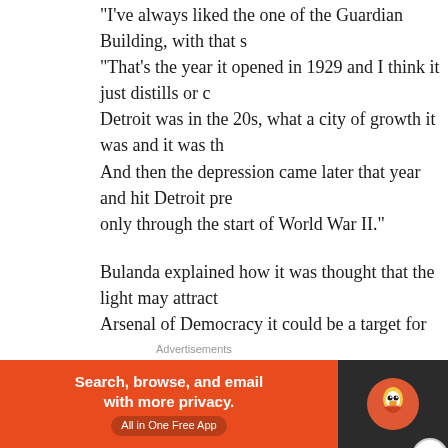“I’ve always liked the one of the Guardian Building, with that s… “That’s the year it opened in 1929 and I think it just distills or c… Detroit was in the 20s, what a city of growth it was and it was th… And then the depression came later that year and hit Detroit pre… only through the start of World War II.”
Bulanda explained how it was thought that the light may attract… Arsenal of Democracy it could be a target for destruction. The P… Guardian in New Center, also had its tower lights dimmed.
The Guardian is one of many downtown buildings featured in th… of Detroit’s legendary film theaters. Many of the theaters have b… while others such as the Madison Theatre have been repurposed… their former glories.
“I love the picture of the Madison Theatre (pg. 126) at night…
[Figure (screenshot): DuckDuckGo advertisement banner: orange background with text 'Search, browse, and email with more privacy. All in One Free App' and DuckDuckGo duck logo on dark background]